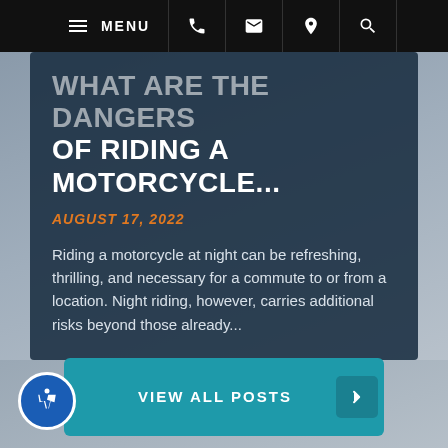MENU
WHAT ARE THE DANGERS OF RIDING A MOTORCYCLE...
AUGUST 17, 2022
Riding a motorcycle at night can be refreshing, thrilling, and necessary for a commute to or from a location. Night riding, however, carries additional risks beyond those already...
VIEW ALL POSTS